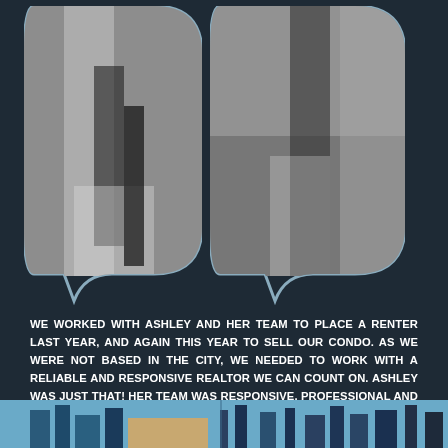[Figure (photo): Dark navy background with two black-and-white photos of people walking, displayed inside large stylized quotation mark shapes with a light blue outline. Left photo shows a person in a white jacket walking on a sidewalk. Right photo shows a person in dark clothing walking near a brick wall.]
WE WORKED WITH ASHLEY AND HER TEAM TO PLACE A RENTER LAST YEAR, AND AGAIN THIS YEAR TO SELL OUR CONDO. AS WE WERE NOT BASED IN THE CITY, WE NEEDED TO WORK WITH A RELIABLE AND RESPONSIVE REALTOR WE CAN COUNT ON. ASHLEY WAS JUST THAT! HER TEAM WAS RESPONSIVE, PROFESSIONAL AND MADE THE ENTIRE PROCESS VERY SMOOTH UNTIL THE FINISH LINE. WE WOULD HIGHLY RECOMMEND HER & HER TEAM TO ANYONE LOOKING FOR A REALTOR TO SELL THEIR HOME.
[Figure (photo): Partial view of city skyline photo at bottom of page, showing buildings against a blue sky.]